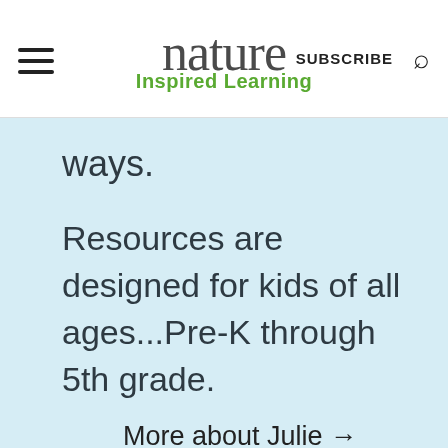nature Inspired Learning  SUBSCRIBE
ways.
Resources are designed for kids of all ages...Pre-K through 5th grade.
More about Julie →